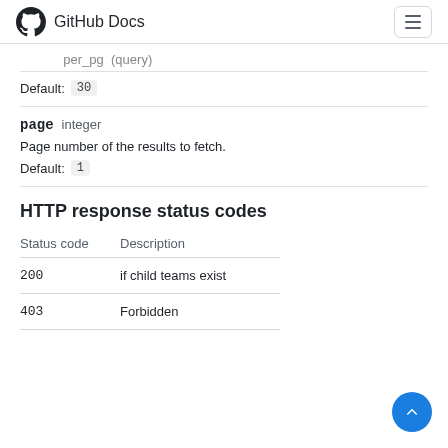GitHub Docs
Default: 30
page   integer
Page number of the results to fetch.
Default: 1
HTTP response status codes
| Status code | Description |
| --- | --- |
| 200 | if child teams exist |
| 403 | Forbidden |